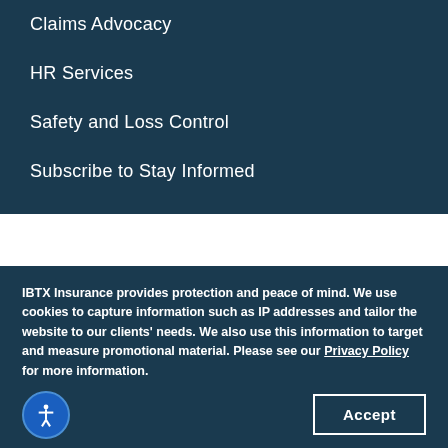Claims Advocacy
HR Services
Safety and Loss Control
Subscribe to Stay Informed
IBTX Insurance provides protection and peace of mind. We use cookies to capture information such as IP addresses and tailor the website to our clients' needs. We also use this information to target and measure promotional material. Please see our Privacy Policy for more information.